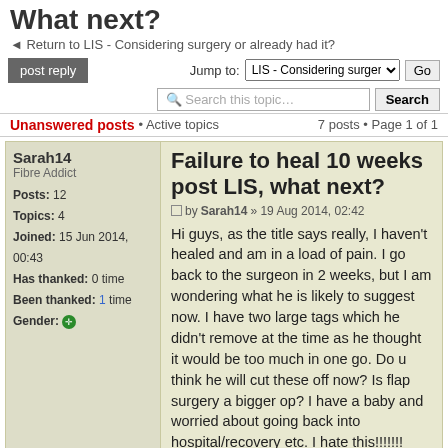What next?
Return to LIS - Considering surgery or already had it?
Jump to: LIS - Considering surgery or   Go
Search this topic…  Search
Unanswered posts • Active topics    7 posts • Page 1 of 1
post reply
Sarah14
Fibre Addict
Posts: 12
Topics: 4
Joined: 15 Jun 2014, 00:43
Has thanked: 0 time
Been thanked: 1 time
Gender:
Failure to heal 10 weeks post LIS, what next?
by Sarah14 » 19 Aug 2014, 02:42
Hi guys, as the title says really, I haven't healed and am in a load of pain. I go back to the surgeon in 2 weeks, but I am wondering what he is likely to suggest now. I have two large tags which he didn't remove at the time as he thought it would be too much in one go. Do u think he will cut these off now? Is flap surgery a bigger op? I have a baby and worried about going back into hospital/recovery etc. I hate this!!!!!!!

Sarah
Re: Failure to heal 10 weeks p...